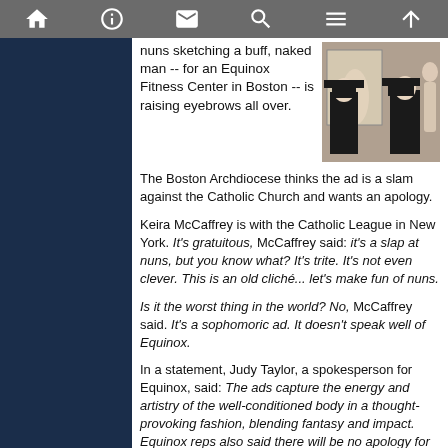Toolbar with icons: home, info, mail, search, menu, up
nuns sketching a buff, naked man -- for an Equinox Fitness Center in Boston -- is raising eyebrows all over.
[Figure (photo): Two nuns in black habits looking at a painting of a nude figure]
The Boston Archdiocese thinks the ad is a slam against the Catholic Church and wants an apology.
Keira McCaffrey is with the Catholic League in New York. It's gratuitous, McCaffrey said: it's a slap at nuns, but you know what? It's trite. It's not even clever. This is an old cliché... let's make fun of nuns.
Is it the worst thing in the world? No, McCaffrey said. It's a sophomoric ad. It doesn't speak well of Equinox.
In a statement, Judy Taylor, a spokesperson for Equinox, said: The ads capture the energy and artistry of the well-conditioned body in a thought-provoking fashion, blending fantasy and impact. Equinox reps also said there will be no apology for the ad, which can soon be seen in five other cities, including New York.